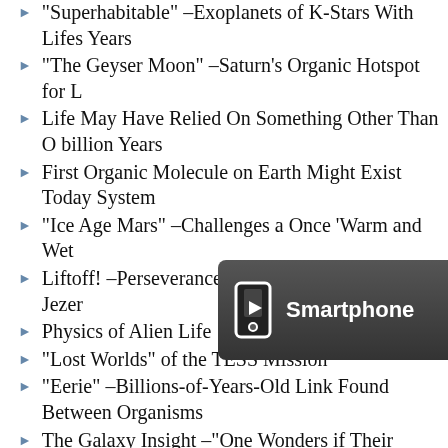“Superhabitable” –Exoplanets of K-Stars With Lifes Years
“The Geyser Moon” –Saturn’s Organic Hotspot for L
Life May Have Relied On Something Other Than O billion Years
First Organic Molecule on Earth Might Exist Today System
“Ice Age Mars” –Challenges a Once ‘Warm and Wet
Liftoff! –Perseverance Mission Heads to Mars Jezer
Physics of Alien Life
“Lost Worlds” of the TESS Mission
“Eerie” –Billions-of-Years-Old Link Found Between Organisms
The Galaxy Insight –“One Wonders if Their Messag
The Galaxy Insight –“An Accident More Complex t
The ‘Fossil Ocean’ of Jupiter’s Europa (The Galaxy
Life on Milky Way’s Ocean World Geology
Habitable Planets of Milky Way’s Increasingly Rare”
Physics Powers the Origin of Life
“So Long, and Thanks for All the Fish” –Water Wor Be Best Bet for Life